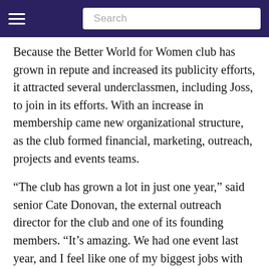Search
Because the Better World for Women club has grown in repute and increased its publicity efforts, it attracted several underclassmen, including Joss, to join in its efforts. With an increase in membership came new organizational structure, as the club formed financial, marketing, outreach, projects and events teams.
“The club has grown a lot in just one year,” said senior Cate Donovan, the external outreach director for the club and one of its founding members. “It’s amazing. We had one event last year, and I feel like one of my biggest jobs with that was just spreading the word and communicating the event to as many people as possible. So I figured [the outreach team] might be a good job for me!”
This year, through dividing and conquering, the club has expanded its breadth of opportunities for student